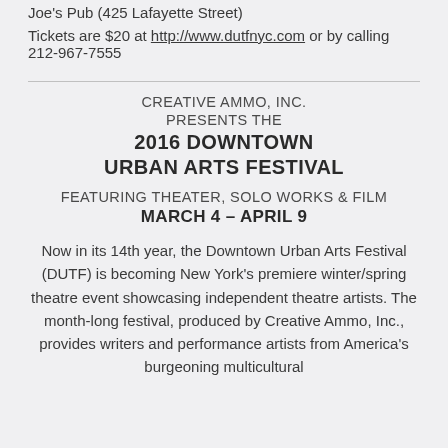Joe's Pub (425 Lafayette Street)
Tickets are $20 at http://www.dutfnyc.com or by calling 212-967-7555
CREATIVE AMMO, INC.
PRESENTS THE
2016 DOWNTOWN URBAN ARTS FESTIVAL
FEATURING THEATER, SOLO WORKS & FILM
MARCH 4 – APRIL 9
Now in its 14th year, the Downtown Urban Arts Festival (DUTF) is becoming New York's premiere winter/spring theatre event showcasing independent theatre artists. The month-long festival, produced by Creative Ammo, Inc., provides writers and performance artists from America's burgeoning multicultural